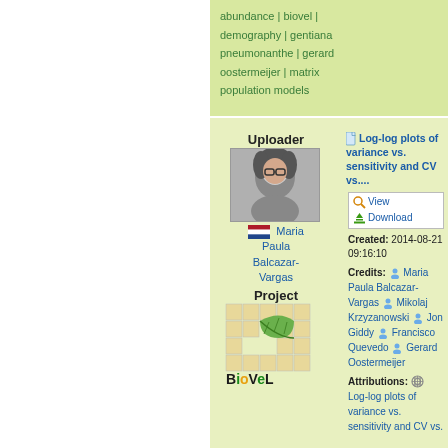abundance | biovel | demography | gentiana pneumonanthe | gerard oostermeijer | matrix population models
Uploader
[Figure (photo): Profile photo of Maria Paula Balcazar-Vargas]
Maria Paula Balcazar-Vargas
Project
[Figure (logo): BioVeL project logo with leaf grid graphic]
Log-log plots of variance vs. sensitivity and CV vs....
View
Download
Created: 2014-08-21 09:16:10
Credits: Maria Paula Balcazar-Vargas  Mikolaj Krzyzanowski  Jon Giddy  Francisco Quevedo  Gerard Oostermeijer
Attributions: Log-log plots of variance vs. sensitivity and CV vs.